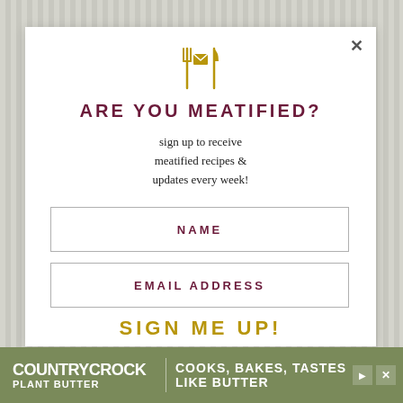[Figure (illustration): Gold envelope icon flanked by two fork/knife utensil icons, centered at top of modal]
ARE YOU MEATIFIED?
sign up to receive meatified recipes & updates every week!
NAME
EMAIL ADDRESS
SIGN ME UP!
[Figure (logo): Country Crock Plant Butter advertisement banner: logo on left, 'COOKS, BAKES, TASTES LIKE BUTTER' text on right, olive green background]